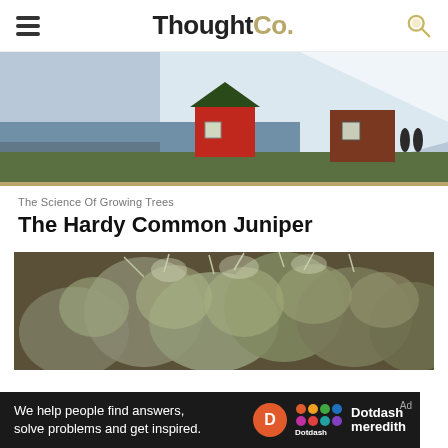ThoughtCo.
[Figure (photo): Red houses with people standing near them beside a large glacier and water, Arctic/Greenland landscape]
The Science Of Growing Trees
The Hardy Common Juniper
[Figure (photo): Close-up of common juniper plant with soft needle-like foliage in muted green-gray tones]
We help people find answers, solve problems and get inspired.
Ad